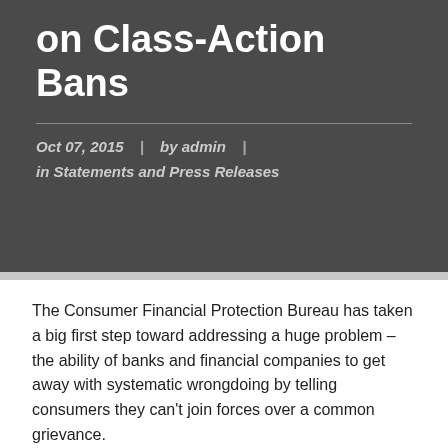on Class-Action Bans
Oct 07, 2015 | by admin | in Statements and Press Releases
The Consumer Financial Protection Bureau has taken a big first step toward addressing a huge problem – the ability of banks and financial companies to get away with systematic wrongdoing by telling consumers they can't join forces over a common grievance.
Statement on Consumer...